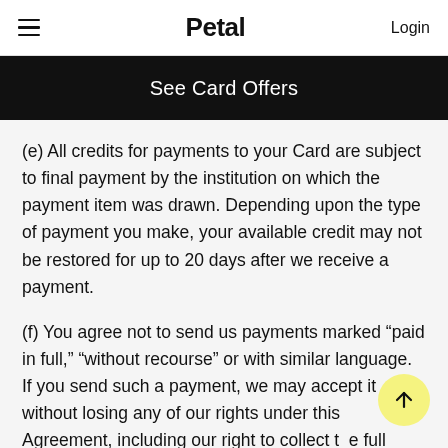≡  Petal  Login
See Card Offers
(e) All credits for payments to your Card are subject to final payment by the institution on which the payment item was drawn. Depending upon the type of payment you make, your available credit may not be restored for up to 20 days after we receive a payment.
(f) You agree not to send us payments marked “paid in full,” “without recourse” or with similar language. If you send such a payment, we may accept it without losing any of our rights under this Agreement, including our right to collect the full amount owed by you. All written communications concerning disputed amounts,